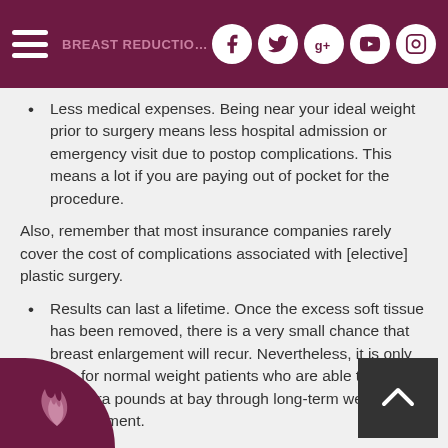header bar with social icons (Facebook, Twitter, Google+, YouTube, Instagram)
Less medical expenses. Being near your ideal weight prior to surgery means less hospital admission or emergency visit due to postop complications. This means a lot if you are paying out of pocket for the procedure.
Also, remember that most insurance companies rarely cover the cost of complications associated with [elective] plastic surgery.
Results can last a lifetime. Once the excess soft tissue has been removed, there is a very small chance that breast enlargement will recur. Nevertheless, it is only true for normal weight patients who are able to keep the extra pounds at bay through long-term weight management.
On the other hand, anyone who is experiencing yoyo weight is not a good candidate for any type of body contouring surgery because the real underlying problem is not the redundant skin or excess breast